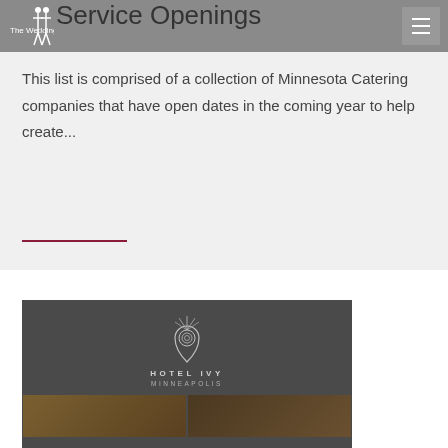The Wedding Guys
Service Openings
This list is comprised of a collection of Minnesota Catering companies that have open dates in the coming year to help create...
[Figure (logo): Hotel Ivy Minneapolis logo on dark grey background with a stylized peacock feather/location pin icon, text reads HOTEL IVY MINNEAPOLIS, with two photo thumbnails below]